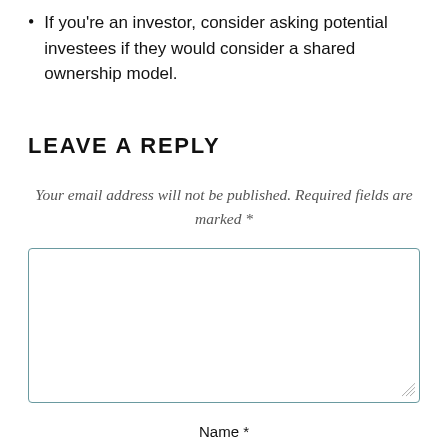If you're an investor, consider asking potential investees if they would consider a shared ownership model.
LEAVE A REPLY
Your email address will not be published. Required fields are marked *
Name *